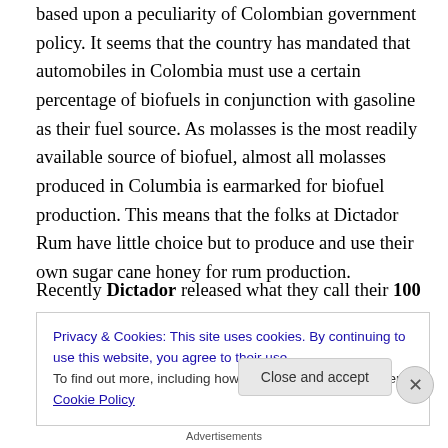based upon a peculiarity of Colombian government policy. It seems that the country has mandated that automobiles in Colombia must use a certain percentage of biofuels in conjunction with gasoline as their fuel source. As molasses is the most readily available source of biofuel, almost all molasses produced in Columbia is earmarked for biofuel production. This means that the folks at Dictador Rum have little choice but to produce and use their own sugar cane honey for rum production.
Recently Dictador released what they call their 100
Privacy & Cookies: This site uses cookies. By continuing to use this website, you agree to their use.
To find out more, including how to control cookies, see here: Cookie Policy
Close and accept
Advertisements